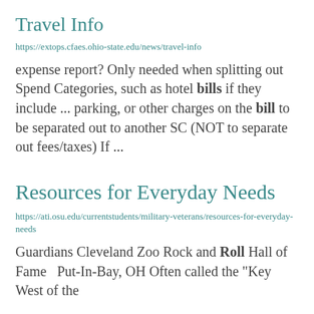Travel Info
https://extops.cfaes.ohio-state.edu/news/travel-info
expense report? Only needed when splitting out Spend Categories, such as hotel bills if they include ... parking, or other charges on the bill to be separated out to another SC (NOT to separate out fees/taxes) If ...
Resources for Everyday Needs
https://ati.osu.edu/currentstudents/military-veterans/resources-for-everyday-needs
Guardians Cleveland Zoo Rock and Roll Hall of Fame   Put-In-Bay, OH Often called the "Key West of the ...